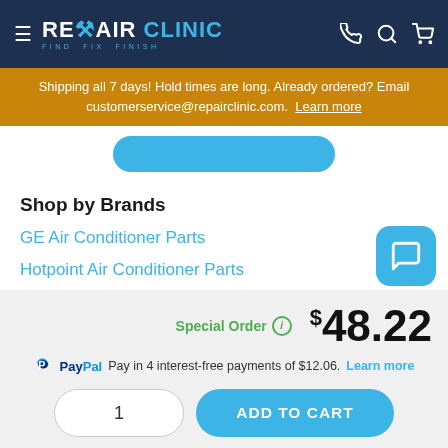REPAIR CLINIC — FIND. FIX. FINISH.
Shipping all 7 days! Hold times are long. Already ordered? Email customerservice@repairclinic.com. Learn more
Shop by Brands
GE Air Conditioner Parts
Hotpoint Air Conditioner Parts
Special Order  $48.22
PayPal Pay in 4 interest-free payments of $12.06. Learn more
1  ADD TO CART